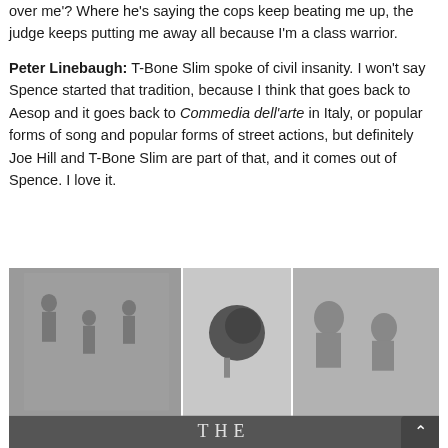over me'? Where he's saying the cops keep beating me up, the judge keeps putting me away all because I'm a class warrior.
Peter Linebaugh: T-Bone Slim spoke of civil insanity. I won't say Spence started that tradition, because I think that goes back to Aesop and it goes back to Commedia dell'arte in Italy, or popular forms of song and popular forms of street actions, but definitely Joe Hill and T-Bone Slim are part of that, and it comes out of Spence. I love it.
[Figure (illustration): A composite image showing three black-and-white historical illustrations side by side, with a dark banner at the bottom showing the text 'THE' in spaced capital letters.]